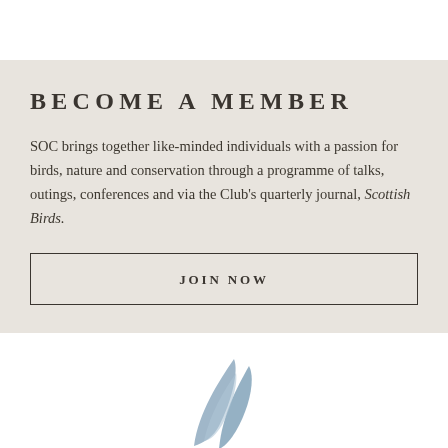BECOME A MEMBER
SOC brings together like-minded individuals with a passion for birds, nature and conservation through a programme of talks, outings, conferences and via the Club's quarterly journal, Scottish Birds.
JOIN NOW
[Figure (illustration): Partial illustration of a bird (blue-grey wing/tail feathers) visible at the bottom of the page]